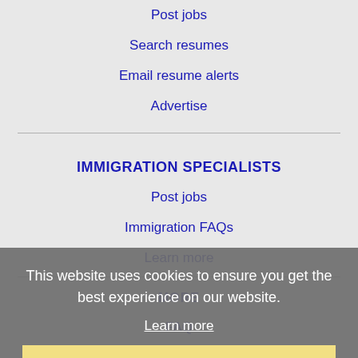Post jobs
Search resumes
Email resume alerts
Advertise
IMMIGRATION SPECIALISTS
Post jobs
Immigration FAQs
Learn more
This website uses cookies to ensure you get the best experience on our website.
Learn more
Got it!
MORE
FAQ
Contact us
Sitemap
Legal
Privacy